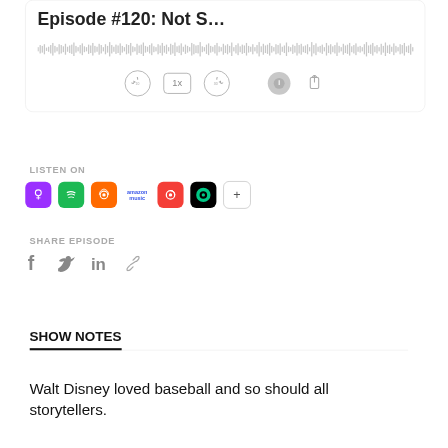[Figure (screenshot): Podcast player widget showing episode title 'Episode #120: Not S...' with audio waveform and playback controls (skip back 10, 1x speed, skip forward 30, info, share)]
LISTEN ON
[Figure (infographic): Row of podcast platform icons: Apple Podcasts (purple), Spotify (green), Overcast (orange), Amazon Music (blue text), Pocket Casts (orange), Castro (teal/black), plus button]
SHARE EPISODE
[Figure (infographic): Social share icons: Facebook (f), Twitter (bird), LinkedIn (in), link/chain icon]
SHOW NOTES
Walt Disney loved baseball and so should all storytellers.